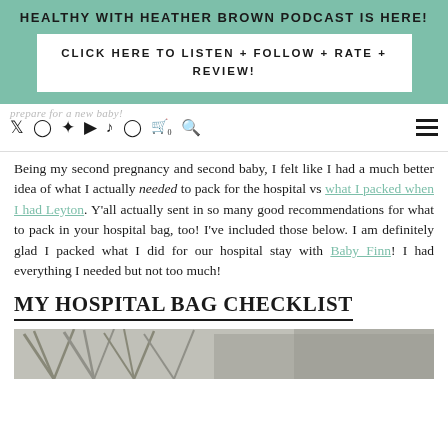HEALTHY WITH HEATHER BROWN PODCAST IS HERE!
CLICK HERE TO LISTEN + FOLLOW + RATE + REVIEW!
[Figure (screenshot): Navigation bar with social media icons: Twitter, Instagram, Pinterest, YouTube, TikTok, Facebook, cart, search, and hamburger menu. Background shows faded text 'prepare for a new baby']
Being my second pregnancy and second baby, I felt like I had a much better idea of what I actually needed to pack for the hospital vs what I packed when I had Leyton. Y'all actually sent in so many good recommendations for what to pack in your hospital bag, too! I've included those below. I am definitely glad I packed what I did for our hospital stay with Baby Finn! I had everything I needed but not too much!
MY HOSPITAL BAG CHECKLIST
[Figure (photo): Bottom portion of a photo showing a plant with long spiky leaves in gray/green tones]